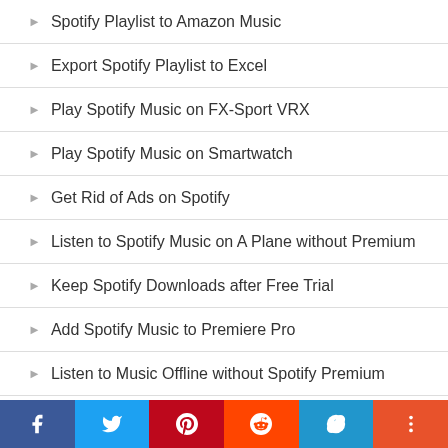Spotify Playlist to Amazon Music
Export Spotify Playlist to Excel
Play Spotify Music on FX-Sport VRX
Play Spotify Music on Smartwatch
Get Rid of Ads on Spotify
Listen to Spotify Music on A Plane without Premium
Keep Spotify Downloads after Free Trial
Add Spotify Music to Premiere Pro
Listen to Music Offline without Spotify Premium
Transfer Spotify Music to Deezer